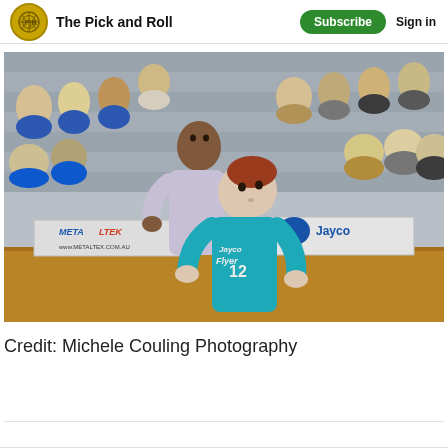The Pick and Roll
[Figure (photo): Two women basketball players battling for position under the basket. One player in a teal/blue Jayco Flyers jersey (#12) and another in a white/purple jersey. Indoor arena with spectators in the background. Courtside advertising boards including Metaltek and Jayco visible.]
Credit: Michele Couling Photography